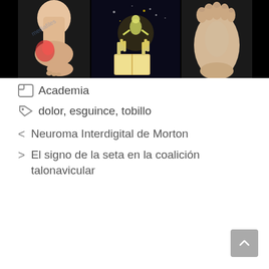[Figure (photo): Three medical images on black background: left shows ankle anatomy with red inflammation highlighted, center shows a fantastical/magical illustration of a figure emerging from a book with skeletal hands, right shows underside view of a foot with toe anatomy]
Academia
dolor, esguince, tobillo
< Neuroma Interdigital de Morton
> El signo de la seta en la coalición talonavicular